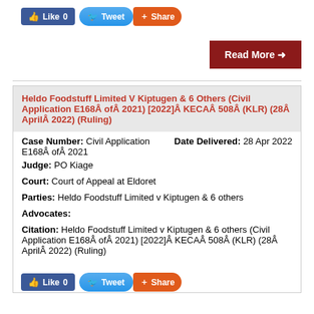[Figure (infographic): Social sharing buttons: Like 0, Tweet, Share]
[Figure (infographic): Read More button with arrow]
Heldo Foodstuff Limited V Kiptugen & 6 Others (Civil Application E168Â ofÂ 2021) [2022]Â KECAÂ 508Â (KLR) (28Â AprilÂ 2022) (Ruling)
Case Number: Civil Application E168Â ofÂ 2021
Date Delivered: 28 Apr 2022
Judge: PO Kiage
Court: Court of Appeal at Eldoret
Parties: Heldo Foodstuff Limited v Kiptugen & 6 others
Advocates:
Citation: Heldo Foodstuff Limited v Kiptugen & 6 others (Civil Application E168Â ofÂ 2021) [2022]Â KECAÂ 508Â (KLR) (28Â AprilÂ 2022) (Ruling)
[Figure (infographic): Social sharing buttons at bottom: Like 0, Tweet, Share]